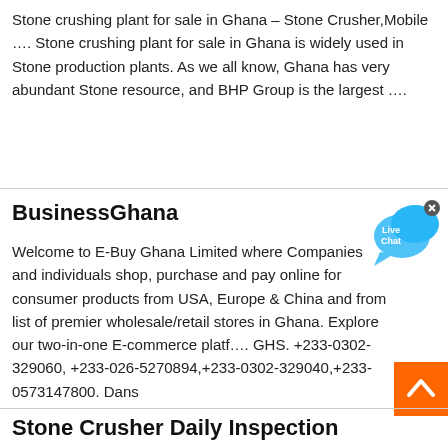Stone crushing plant for sale in Ghana – Stone Crusher,Mobile …. Stone crushing plant for sale in Ghana is widely used in Stone production plants. As we all know, Ghana has very abundant Stone resource, and BHP Group is the largest ….
BusinessGhana
[Figure (other): Live Chat bubble widget in blue with speech bubble shape and 'x' close button]
Welcome to E-Buy Ghana Limited where Companies and individuals shop, purchase and pay online for consumer products from USA, Europe & China and from list of premier wholesale/retail stores in Ghana. Explore our two-in-one E-commerce platf…. GHS. +233-0302-329060, +233-026-5270894,+233-0302-329040,+233-0573147800. Dans
[Figure (other): Orange 'back to top' button with upward chevron arrow]
Stone Crusher Daily Inspection